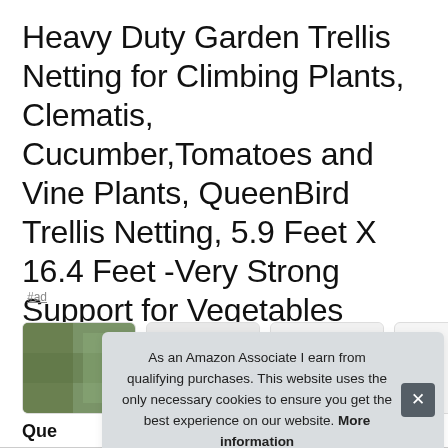Heavy Duty Garden Trellis Netting for Climbing Plants, Clematis, Cucumber,Tomatoes and Vine Plants, QueenBird Trellis Netting, 5.9 Feet X 16.4 Feet -Very Strong Support for Vegetables
#ad
[Figure (photo): Thumbnail images of garden trellis netting product, partially visible]
As an Amazon Associate I earn from qualifying purchases. This website uses the only necessary cookies to ensure you get the best experience on our website. More information
Que